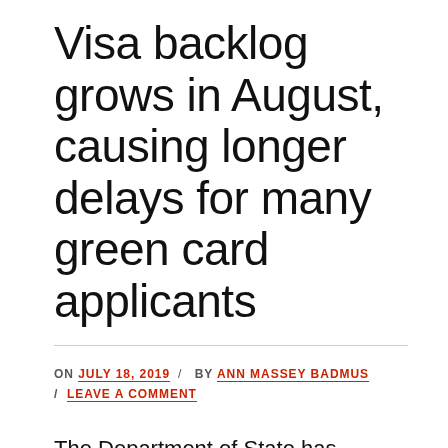Visa backlog grows in August, causing longer delays for many green card applicants
ON JULY 18, 2019 / BY ANN MASSEY BADMUS / LEAVE A COMMENT
The Department of State has posted the visa bulletin for August 2019. Almost all employment based (EB) green card categories are now experiencing backlogs which are expected to continue through September. In October, a new round of immigrant visas